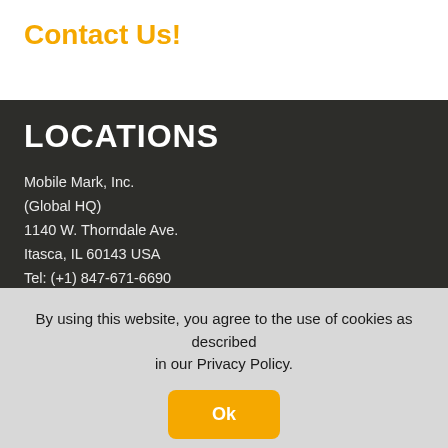Contact Us!
LOCATIONS
Mobile Mark, Inc.
(Global HQ)
1140 W. Thorndale Ave.
Itasca, IL 60143 USA
Tel: (+1) 847-671-6690
Tel: (+1) 800-648-2800
Mobile Mark Europe, Ltd.
8 Miras Business Park, Keys Park Rd, Hednesford, Staffordshire
By using this website, you agree to the use of cookies as described in our Privacy Policy.